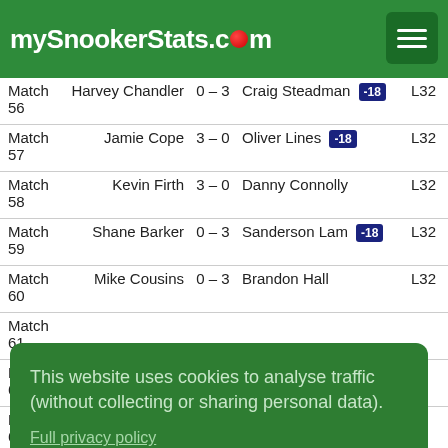mySnookerStats.com
| Type | Player 1 | Score | Player 2 | Badge | Round |
| --- | --- | --- | --- | --- | --- |
| Match 56 | Harvey Chandler | 0 – 3 | Craig Steadman | -18 | L32 |
| Match 57 | Jamie Cope | 3 – 0 | Oliver Lines | -18 | L32 |
| Match 58 | Kevin Firth | 3 – 0 | Danny Connolly |  | L32 |
| Match 59 | Shane Barker | 0 – 3 | Sanderson Lam | -18 | L32 |
| Match 60 | Mike Cousins | 0 – 3 | Brandon Hall |  | L32 |
| Match 61 |  |  |  |  |  |
| Match 62 |  |  |  |  |  |
| Match 63 |  |  |  |  |  |
| Match | Peter Devlin | 3 – 0 | Luke Pinches |  | L32 |
This website uses cookies to analyse traffic (without collecting or sharing personal data). Full privacy policy
Got it!